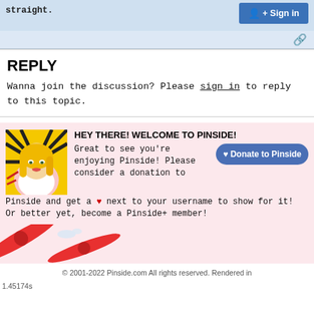straight.
Sign in
🔗
REPLY
Wanna join the discussion? Please sign in to reply to this topic.
[Figure (illustration): Comic-style illustration of a woman with blonde hair in a superhero or action pose, colorful pop-art style]
HEY THERE! WELCOME TO PINSIDE!
Great to see you're enjoying Pinside! Please consider a donation to Pinside and get a ❤ next to your username to show for it! Or better yet, become a Pinside+ member!
♥ Donate to Pinside
[Figure (illustration): Pinball flippers and decorative elements at the bottom of the page]
© 2001-2022 Pinside.com All rights reserved. Rendered in
1.45174s